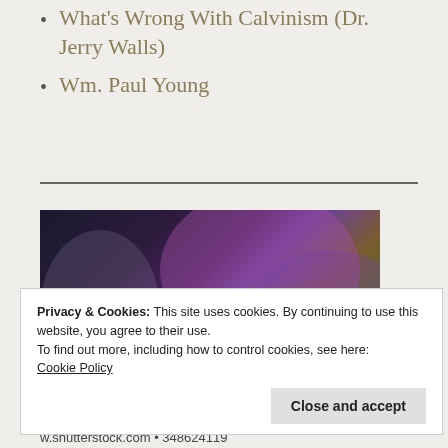What's Wrong With Calvinism (Dr. Jerry Walls)
Wm. Paul Young
[Figure (photo): Close-up macro photograph of a green fly with a red compound eye, against a blurred dark and purple/magenta background, with shutterstock watermark]
Privacy & Cookies: This site uses cookies. By continuing to use this website, you agree to their use.
To find out more, including how to control cookies, see here: Cookie Policy
Close and accept
w.shutterstock.com • 348624119